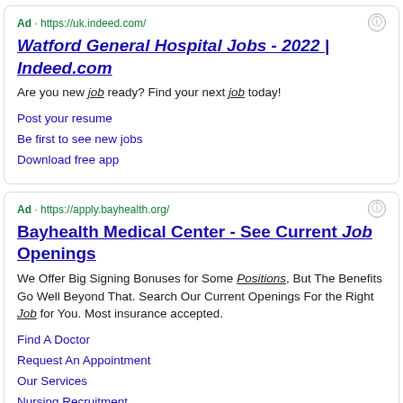Ad · https://uk.indeed.com/
Watford General Hospital Jobs - 2022 | Indeed.com
Are you new job ready? Find your next job today!
Post your resume
Be first to see new jobs
Download free app
Ad · https://apply.bayhealth.org/
Bayhealth Medical Center - See Current Job Openings
We Offer Big Signing Bonuses for Some Positions, But The Benefits Go Well Beyond That. Search Our Current Openings For the Right Job for You. Most insurance accepted.
Find A Doctor
Request An Appointment
Our Services
Nursing Recruitment